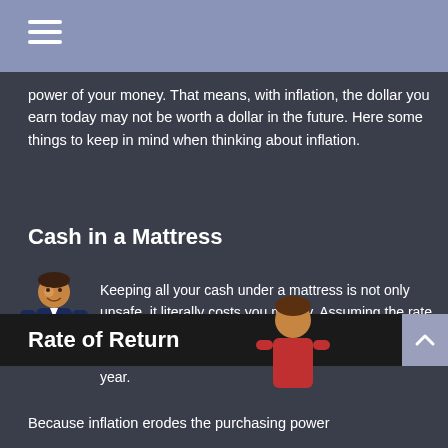power of your money. That means, with inflation, the dollar you earn today may not be worth a dollar in the future. Here some things to keep in mind when thinking about inflation.
Cash in a Mattress
[Figure (illustration): Animated character illustration of a person with dark hair wearing a blue shirt]
Keeping all your cash under a mattress is not only unsafe, it literally costs you money. Assuming the rate of inflation is a hypothetical 2%, every dollar you squirrel away will shrink in value to just $.98 next year.
Rate of Return
[Figure (illustration): Animated character illustration of a person with brown hair wearing a red shirt]
Because inflation erodes the purchasing power